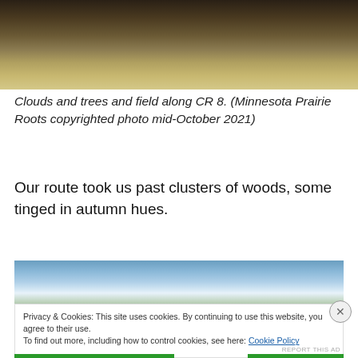[Figure (photo): Top portion of a photo showing clouds and trees and a field along CR 8, mid-October 2021 Minnesota Prairie landscape]
Clouds and trees and field along CR 8. (Minnesota Prairie Roots copyrighted photo mid-October 2021)
Our route took us past clusters of woods, some tinged in autumn hues.
[Figure (photo): Bottom portion of a photo showing blue sky with clouds over prairie/field landscape]
Privacy & Cookies: This site uses cookies. By continuing to use this website, you agree to their use.
To find out more, including how to control cookies, see here: Cookie Policy
Close and accept